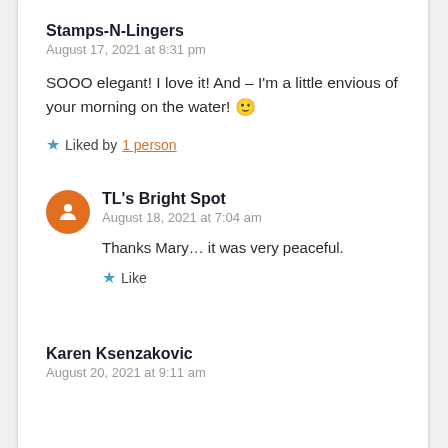Stamps-N-Lingers
August 17, 2021 at 8:31 pm
SOOO elegant! I love it! And – I'm a little envious of your morning on the water! 🙂
Liked by 1 person
[Figure (illustration): Orange circular avatar with white person silhouette icon]
TL's Bright Spot
August 18, 2021 at 7:04 am
Thanks Mary… it was very peaceful.
Like
Karen Ksenzakovic
August 20, 2021 at 9:11 am